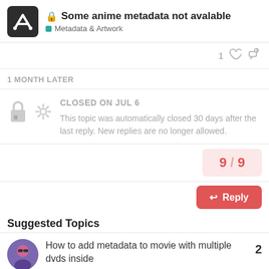🔒 Some anime metadata not avalable — Metadata & Artwork
1 ♡ 🔗
1 MONTH LATER
CLOSED ON JUL 6
This topic was automatically closed 30 days after the last reply. New replies are no longer allowed.
9 / 9
Reply
Suggested Topics
How to add metadata to movie with multiple dvds inside
Metadata & Artwork    Apr 23    2